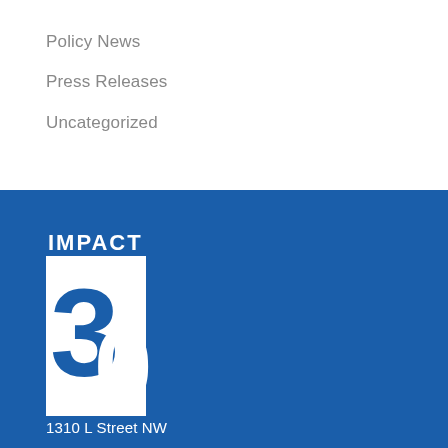Policy News
Press Releases
Uncategorized
[Figure (logo): IMPACT 30 logo — white rectangular block with the word IMPACT above and a large 30 numeral, displayed on a blue background]
1310 L Street NW